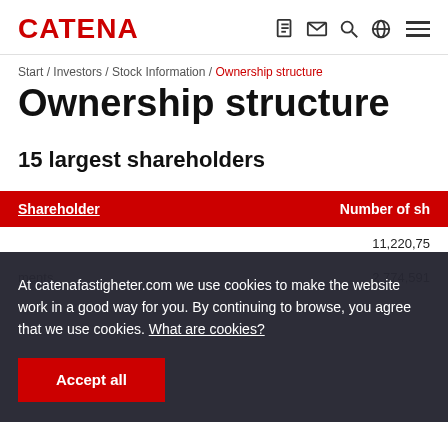CATENA
Start / Investors / Stock Information / Ownership structure
Ownership structure
15 largest shareholders
| Shareholder | Number of sh... |
| --- | --- |
|  | 11,220,75... |
| ...ments | 2,774,591 |
At catenafastigheter.com we use cookies to make the website work in a good way for you. By continuing to browse, you agree that we use cookies. What are cookies?